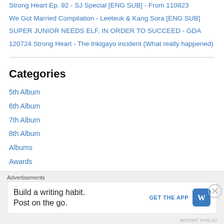Strong Heart Ep. 92 - SJ Special [ENG SUB] - From 110823
We Got Married Compilation - Leeteuk & Kang Sora [ENG SUB]
SUPER JUNIOR NEEDS ELF, IN ORDER TO SUCCEED - GDA
120724 Strong Heart - The Inkigayo incident (What really happened)
Categories
5th Album
6th Album
7th Album
8th Album
Albums
Awards
Birthdays
CandidRandom(nonSJ)
Channel A
Advertisements
Build a writing habit. Post on the go.
GET THE APP